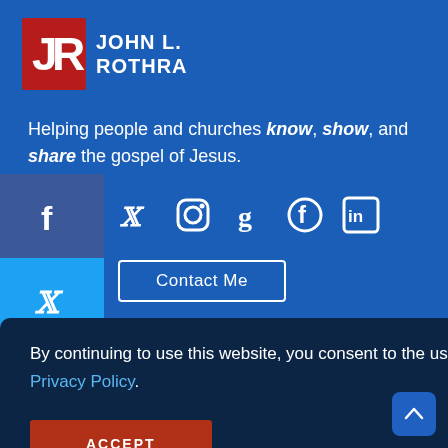[Figure (logo): JR monogram logo in red and white next to 'JOHN L. ROTHRA' in white bold text on blue background]
Helping people and churches know, show, and share the gospel of Jesus.
[Figure (infographic): Social media share sidebar with Facebook, Twitter, and LinkedIn icons on left side]
[Figure (infographic): Social media icons row: Twitter, Instagram, Goodreads, Facebook, LinkedIn]
Contact Me
By continuing to use this website, you consent to the use of cookies in accordance with our Privacy Policy.
ACCEPT